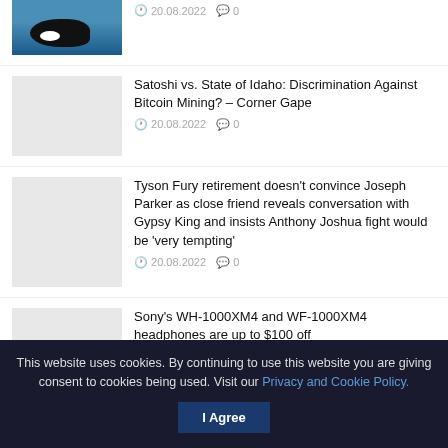[Figure (photo): Orca whale in ocean water, partially visible at top of page]
20.08.2022  0
Satoshi vs. State of Idaho: Discrimination Against Bitcoin Mining? – Corner Gape
20.08.2022  0
Tyson Fury retirement doesn't convince Joseph Parker as close friend reveals conversation with Gypsy King and insists Anthony Joshua fight would be 'very tempting'
20.08.2022  0
Sony's WH-1000XM4 and WF-1000XM4 headphones are up to $100 off
20.08.2022  0
This website uses cookies. By continuing to use this website you are giving consent to cookies being used. Visit our Privacy and Cookie Policy.
I Agree